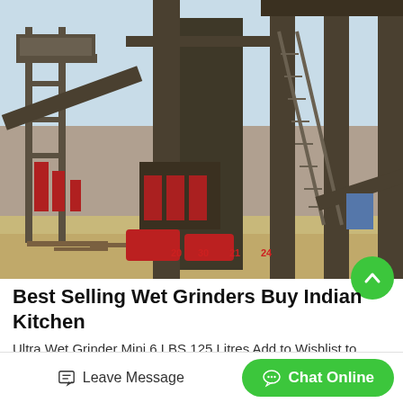[Figure (photo): Industrial stone crushing / mining plant with metal framework, conveyor belts, large machinery structures, and stairs, photographed outdoors on sandy ground under a clear sky.]
Best Selling Wet Grinders Buy Indian Kitchen
Ultra Wet Grinder Mini 6 LBS 125 Litres Add to Wishlist to Compare Regular Price US31000 Special Price US28000 Ultra Wet Grinder Table Top Grind Plus Gold 2 Litres.
Leave Message
Chat Online